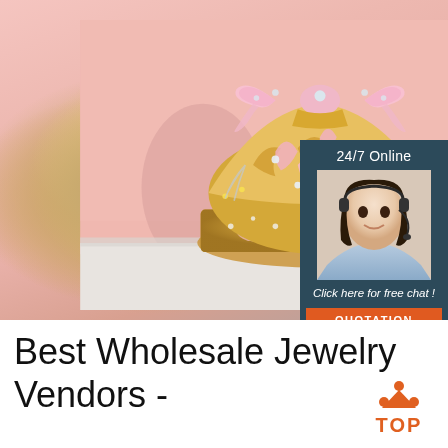[Figure (photo): A decorative gold and pink crown/jewelry box with rhinestones and a pink bow on top, photographed on a pinkish background. In the upper right corner, there is a chat widget overlay with '24/7 Online' text, a photo of a woman with a headset, 'Click here for free chat!' text, and an orange 'QUOTATION' button.]
[Figure (logo): Orange TOP logo with upward triangle/arrow and three dots arranged in a triangular pattern above the word TOP]
Best Wholesale Jewelry Vendors -